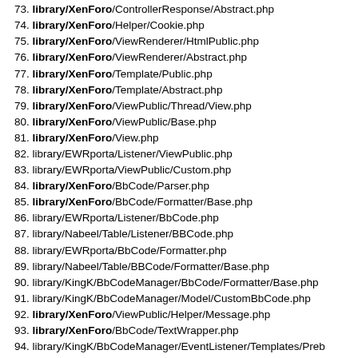73. library/XenForo/ControllerResponse/Abstract.php
74. library/XenForo/Helper/Cookie.php
75. library/XenForo/ViewRenderer/HtmlPublic.php
76. library/XenForo/ViewRenderer/Abstract.php
77. library/XenForo/Template/Public.php
78. library/XenForo/Template/Abstract.php
79. library/XenForo/ViewPublic/Thread/View.php
80. library/XenForo/ViewPublic/Base.php
81. library/XenForo/View.php
82. library/EWRporta/Listener/ViewPublic.php
83. library/EWRporta/ViewPublic/Custom.php
84. library/XenForo/BbCode/Parser.php
85. library/XenForo/BbCode/Formatter/Base.php
86. library/EWRporta/Listener/BbCode.php
87. library/Nabeel/Table/Listener/BBCode.php
88. library/EWRporta/BbCode/Formatter.php
89. library/Nabeel/Table/BBCode/Formatter/Base.php
90. library/KingK/BbCodeManager/BbCode/Formatter/Base.php
91. library/KingK/BbCodeManager/Model/CustomBbCode.php
92. library/XenForo/ViewPublic/Helper/Message.php
93. library/XenForo/BbCode/TextWrapper.php
94. library/KingK/BbCodeManager/EventListener/Templates/Preb
95. library/XenForo/Route/Prefix/Members.php
96. library/EWRporta/Listener/NavTabs.php
97. library/KingK/BbCodeManager/EventListener/Templates/Init